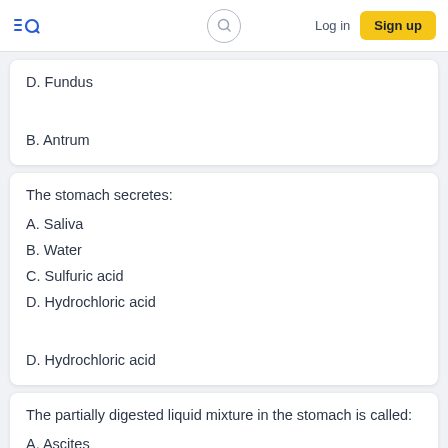EQ | Log in | Sign up
D. Fundus
B. Antrum
The stomach secretes:
A. Saliva
B. Water
C. Sulfuric acid
D. Hydrochloric acid
D. Hydrochloric acid
The partially digested liquid mixture in the stomach is called:
A. Ascites